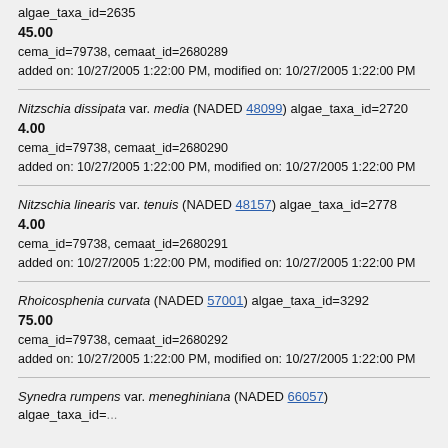algae_taxa_id=2635
45.00
cema_id=79738, cemaat_id=2680289
added on: 10/27/2005 1:22:00 PM, modified on: 10/27/2005 1:22:00 PM
Nitzschia dissipata var. media (NADED 48099) algae_taxa_id=2720
4.00
cema_id=79738, cemaat_id=2680290
added on: 10/27/2005 1:22:00 PM, modified on: 10/27/2005 1:22:00 PM
Nitzschia linearis var. tenuis (NADED 48157) algae_taxa_id=2778
4.00
cema_id=79738, cemaat_id=2680291
added on: 10/27/2005 1:22:00 PM, modified on: 10/27/2005 1:22:00 PM
Rhoicosphenia curvata (NADED 57001) algae_taxa_id=3292
75.00
cema_id=79738, cemaat_id=2680292
added on: 10/27/2005 1:22:00 PM, modified on: 10/27/2005 1:22:00 PM
Synedra rumpens var. meneghiniana (NADED 66057) algae_taxa_id=...